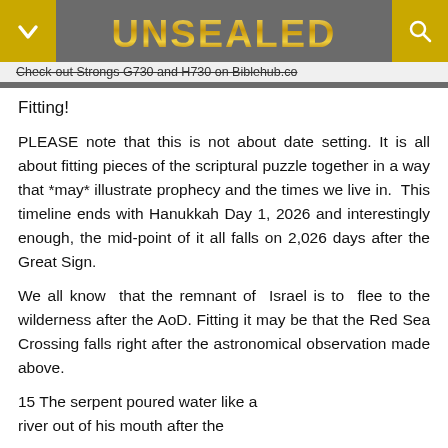UNSEALED
Check-out Strongs G730 and H730 on Biblehub.co
Fitting!
PLEASE note that this is not about date setting. It is all about fitting pieces of the scriptural puzzle together in a way that *may* illustrate prophecy and the times we live in.  This timeline ends with Hanukkah Day 1, 2026 and interestingly enough, the mid-point of it all falls on 2,026 days after the Great Sign.
We all know that the remnant of Israel is to flee to the wilderness after the AoD. Fitting it may be that the Red Sea Crossing falls right after the astronomical observation made above.
15 The serpent poured water like a river out of his mouth after the